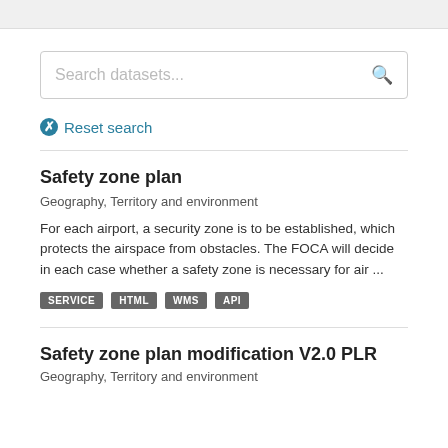[Figure (screenshot): Top grey bar of a web interface]
Search datasets...
Reset search
Safety zone plan
Geography, Territory and environment
For each airport, a security zone is to be established, which protects the airspace from obstacles. The FOCA will decide in each case whether a safety zone is necessary for air ...
SERVICE
HTML
WMS
API
Safety zone plan modification V2.0 PLR
Geography, Territory and environment